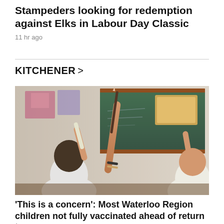Stampeders looking for redemption against Elks in Labour Day Classic
11 hr ago
KITCHENER >
[Figure (photo): Children in a classroom raising their hands toward a blackboard, one prominently holding a pencil up.]
'This is a concern': Most Waterloo Region children not fully vaccinated ahead of return to